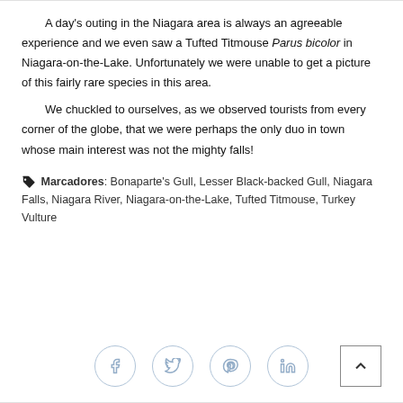A day's outing in the Niagara area is always an agreeable experience and we even saw a Tufted Titmouse Parus bicolor in Niagara-on-the-Lake. Unfortunately we were unable to get a picture of this fairly rare species in this area.

We chuckled to ourselves, as we observed tourists from every corner of the globe, that we were perhaps the only duo in town whose main interest was not the mighty falls!
Marcadores: Bonaparte's Gull, Lesser Black-backed Gull, Niagara Falls, Niagara River, Niagara-on-the-Lake, Tufted Titmouse, Turkey Vulture